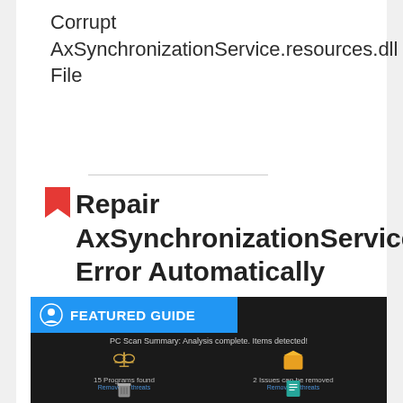Corrupt AxSynchronizationService.resources.dll File
Repair AxSynchronizationService.resources.dll Error Automatically
[Figure (screenshot): PC scan summary screenshot showing FEATURED GUIDE banner and scan results: 15 Programs found, 2 Issues can be removed, 91.83 MB of space can be saved, 113 Items can be fixed]